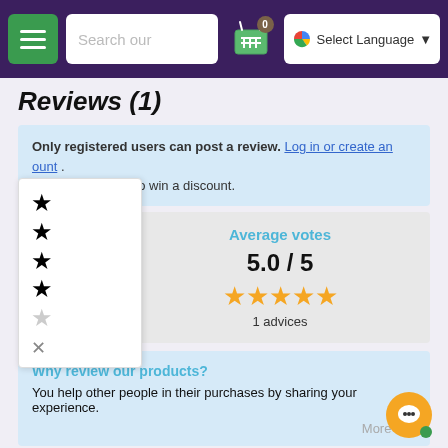Search our | Select Language | 0 (cart)
Reviews (1)
Only registered users can post a review. Log in or create an account . t a review and try to win a discount.
Average votes
5.0 / 5
1 advices
Why review our products?
You help other people in their purchases by sharing your experience.
More info
Sort: The most recent  The most recent ▾